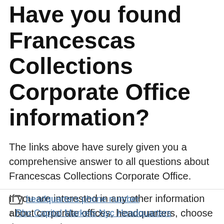Have you found Francescas Collections Corporate Office information?
The links above have surely given you a comprehensive answer to all questions about Francescas Collections Corporate Office.
If you are interested in any other information about corporate offices, headquarters, choose the appropriate page.
headquarters phone number
Rbc Capital Markets Nyc Headquarters